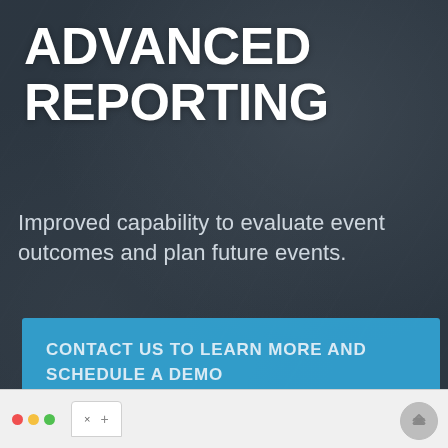ADVANCED REPORTING
Improved capability to evaluate event outcomes and plan future events.
CONTACT US TO LEARN MORE AND SCHEDULE A DEMO
[Figure (screenshot): Browser bar at bottom with red, yellow, green dots, a tab with X and plus button, and a scroll-to-top arrow button]